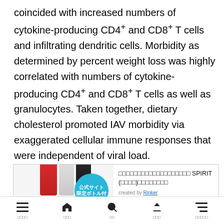coincided with increased numbers of cytokine-producing CD4+ and CD8+ T cells and infiltrating dendritic cells. Morbidity as determined by percent weight loss was highly correlated with numbers of cytokine-producing CD4+ and CD8+ T cells as well as granulocytes. Taken together, dietary cholesterol promoted IAV morbidity via exaggerated cellular immune responses that were independent of viral load.
[Figure (photo): Advertisement box showing soda maker bottles (red, white, black) with a teal badge reading '公式サイト限定ボトル付' and Japanese product title text for SPIRIT model, created by Rinker]